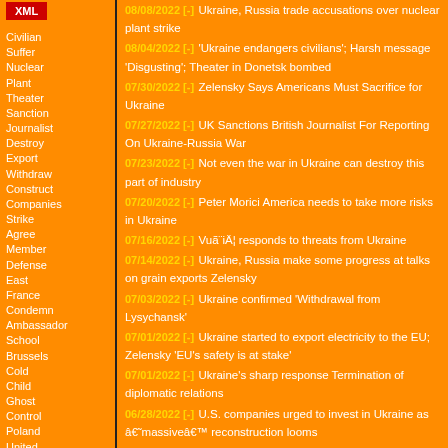[Figure (logo): XML badge in red]
Civilian
Suffer
Nuclear
Plant
Theater
Sanction
Journalist
Destroy
Export
Withdraw
Construct
Companies
Strike
Agree
Member
Defense
East
France
Condemn
Ambassador
School
Brussels
Cold
Child
Ghost
Control
Poland
United
Nations
Supply
Germany
Google
French
Launch
Belarus
Marshall
08/08/2022 [-] Ukraine, Russia trade accusations over nuclear plant strike
08/04/2022 [-] 'Ukraine endangers civilians'; Harsh message 'Disgusting'; Theater in Donetsk bombed
07/30/2022 [-] Zelensky Says Americans Must Sacrifice for Ukraine
07/27/2022 [-] UK Sanctions British Journalist For Reporting On Ukraine-Russia War
07/23/2022 [-] Not even the war in Ukraine can destroy this part of industry
07/20/2022 [-] Peter Morici America needs to take more risks in Ukraine
07/16/2022 [-] Vuã¨iÄ¦ responds to threats from Ukraine
07/14/2022 [-] Ukraine, Russia make some progress at talks on grain exports Zelensky
07/03/2022 [-] Ukraine confirmed 'Withdrawal from Lysychansk'
07/01/2022 [-] Ukraine started to export electricity to the EU; Zelensky 'EU's safety is at stake'
07/01/2022 [-] Ukraine's sharp response Termination of diplomatic relations
06/28/2022 [-] U.S. companies urged to invest in Ukraine as â€˜massiveâ€™ reconstruction looms
06/27/2022 [-] NYT Confirms On-The-Ground CIA Agents Are Directing War in Ukraine
06/23/2022 [-] Russians take over the territory of Ukraine; Massive air and artillery strikes
06/22/2022 [-] Cold shower for future EU members